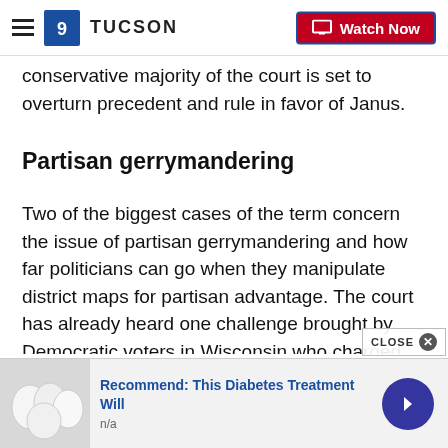TUCSON | Watch Now
conservative majority of the court is set to overturn precedent and rule in favor of Janus.
Partisan gerrymandering
Two of the biggest cases of the term concern the issue of partisan gerrymandering and how far politicians can go when they manipulate district maps for partisan advantage. The court has already heard one challenge brought by Democratic voters in Wisconsin who charged that after the last census Republican legislators drew maps unconstitutionally to benefit Republica
[Figure (screenshot): Advertisement banner: 'Recommend: This Diabetes Treatment Will' with food image and n/a label and arrow button]
CLOSE